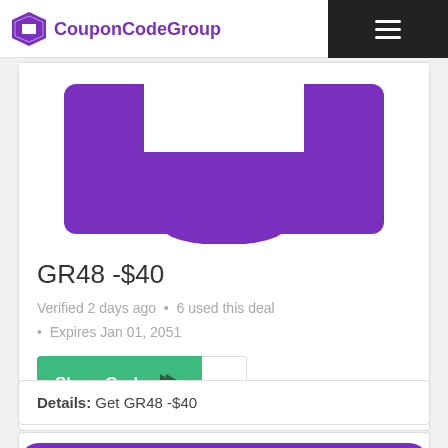CouponCodeGroup
[Figure (illustration): Purple coupon/ticket shape icon]
GR48 -$40
Verified 2 days ago  •  6 used this deal
Expires Jan 01, 2051
[Figure (other): Show Code button with arrow and partial code '-40']
Details: Get GR48 -$40